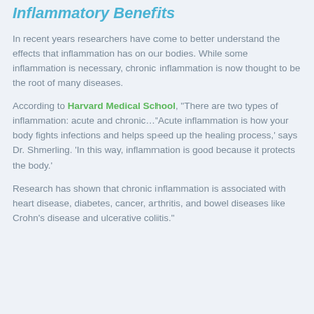Inflammatory Benefits
In recent years researchers have come to better understand the effects that inflammation has on our bodies. While some inflammation is necessary, chronic inflammation is now thought to be the root of many diseases.
According to Harvard Medical School, “There are two types of inflammation: acute and chronic…’Acute inflammation is how your body fights infections and helps speed up the healing process,’ says Dr. Shmerling. ‘In this way, inflammation is good because it protects the body.’
Research has shown that chronic inflammation is associated with heart disease, diabetes, cancer, arthritis, and bowel diseases like Crohn’s disease and ulcerative colitis.”